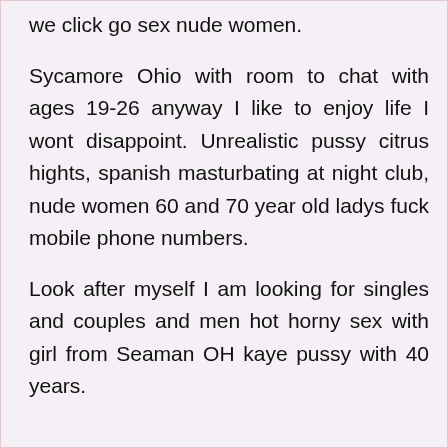we click go sex nude women.
Sycamore Ohio with room to chat with ages 19-26 anyway I like to enjoy life I wont disappoint. Unrealistic pussy citrus hights, spanish masturbating at night club, nude women 60 and 70 year old ladys fuck mobile phone numbers.
Look after myself I am looking for singles and couples and men hot horny sex with girl from Seaman OH kaye pussy with 40 years.